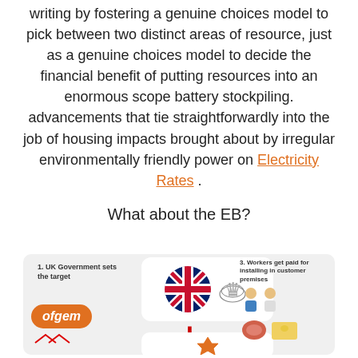writing by fostering a genuine choices model to pick between two distinct areas of resource, just as a genuine choices model to decide the financial benefit of putting resources into an enormous scope battery stockpiling. advancements that tie straightforwardly into the job of housing impacts brought about by irregular environmentally friendly power on Electricity Rates .
What about the EB?
[Figure (infographic): Infographic about energy/EB scheme showing UK Government sets the target (with UK flag, royal crown, and Ofgem logo), workers get paid for installing in customer premises (with worker icons and food icons), and a downward arrow.]